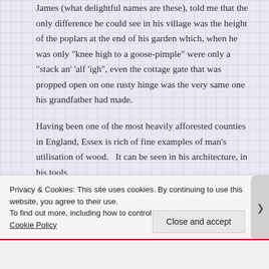James (what delightful names are these), told me that the only difference he could see in his village was the height of the poplars at the end of his garden which, when he was only "knee high to a goose-pimple" were only a "stack an' 'alf 'igh", even the cottage gate that was propped open on one rusty hinge was the very same one his grandfather had made.
Having been one of the most heavily afforested counties in England, Essex is rich of fine examples of man's utilisation of wood.   It can be seen in his architecture, in his tools
Privacy & Cookies: This site uses cookies. By continuing to use this website, you agree to their use.
To find out more, including how to control cookies, see here: Cookie Policy
Close and accept